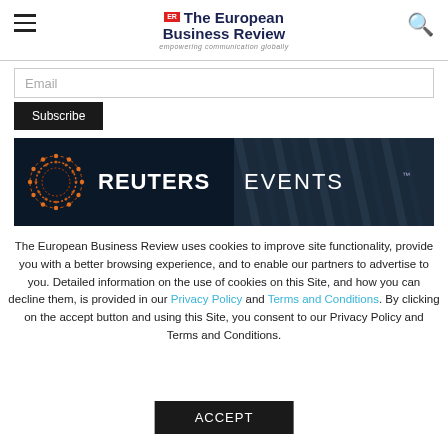ER The European Business Review — empowering communication globally
Email
Subscribe
[Figure (photo): Reuters Events banner with orange dotted circle logo on dark background with server rack imagery]
The European Business Review uses cookies to improve site functionality, provide you with a better browsing experience, and to enable our partners to advertise to you. Detailed information on the use of cookies on this Site, and how you can decline them, is provided in our Privacy Policy and Terms and Conditions. By clicking on the accept button and using this Site, you consent to our Privacy Policy and Terms and Conditions.
ACCEPT